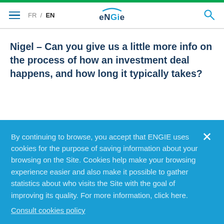FR / EN  ENGIE  [search icon]
Nigel – Can you give us a little more info on the process of how an investment deal happens, and how long it typically takes?
By continuing to browse, you accept that ENGIE uses cookies for the purpose of saving information about your browsing on the Site. Cookies help make your browsing experience easier and also make it possible to gather statistics about who visits the Site with the goal of improving its quality. For more information, click here.
Consult cookies policy